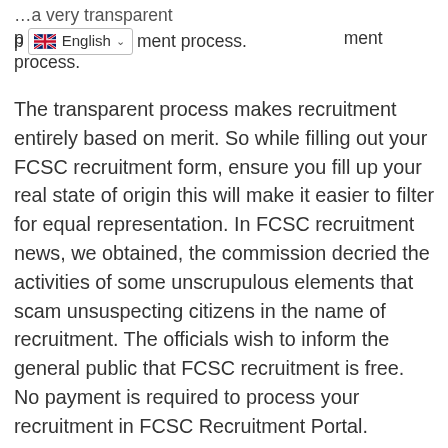… a very transparent p[English language selector]ment process.
The transparent process makes recruitment entirely based on merit. So while filling out your FCSC recruitment form, ensure you fill up your real state of origin this will make it easier to filter for equal representation. In FCSC recruitment news, we obtained, the commission decried the activities of some unscrupulous elements that scam unsuspecting citizens in the name of recruitment. The officials wish to inform the general public that FCSC recruitment is free. No payment is required to process your recruitment in FCSC Recruitment Portal.